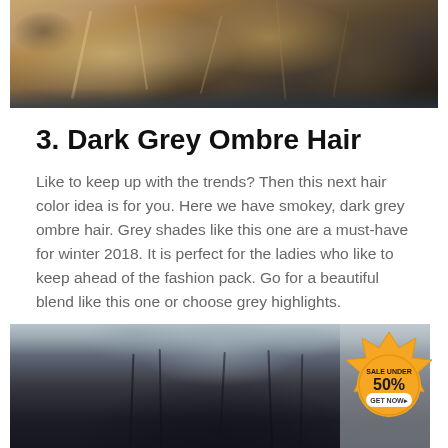[Figure (photo): Close-up photo of a person's hair with blonde and brown ombre highlights, styled with waves]
3. Dark Grey Ombre Hair
Like to keep up with the trends? Then this next hair color idea is for you. Here we have smokey, dark grey ombre hair. Grey shades like this one are a must-have for winter 2018. It is perfect for the ladies who like to keep ahead of the fashion pack. Go for a beautiful blend like this one or choose grey highlights.
[Figure (photo): Photo of a person with long dark grey ombre hair, viewed from behind. An orange badge overlay reads SALE UNDER 50% GET NOW with a crown icon.]